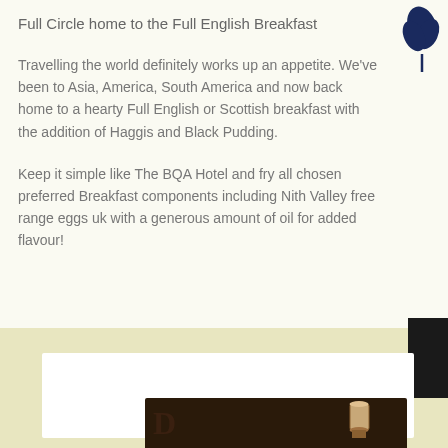Full Circle home to the Full English Breakfast
Travelling the world definitely works up an appetite. We've been to Asia, America, South America and now back home to a hearty Full English or Scottish breakfast with the addition of Haggis and Black Pudding.
Keep it simple like The BQA Hotel and fry all chosen preferred Breakfast components including Nith Valley free range eggs uk with a generous amount of oil for added flavour!
[Figure (illustration): Dark blue leaf/clover logo in top right corner]
[Figure (photo): Bottom section showing a yellow background, white card area, and a dark image at the bottom with a decorative letter D and a glass]